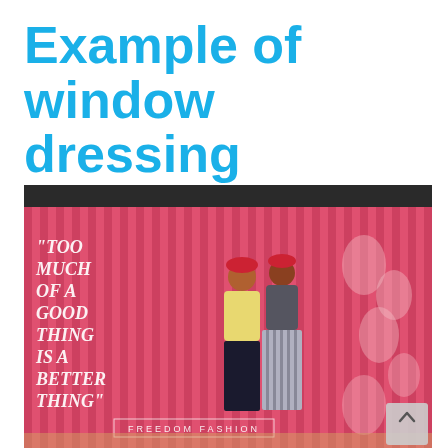Example of window dressing
[Figure (photo): A retail store window display with a pink floral and striped background wallpaper, featuring two mannequins dressed in fashion outfits. Large italic text on the left reads: 'TOO MUCH OF A GOOD THING IS A BETTER THING'. At the bottom is text reading 'FREEDOM FASHION'. A scroll-up button is visible in the bottom-right corner.]